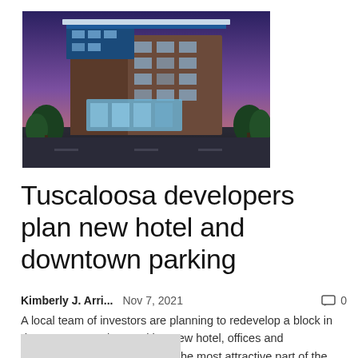[Figure (photo): Architectural rendering of a modern multi-story hotel building with blue and brown facade, glass lobby, trees in foreground, dusk sky background]
Tuscaloosa developers plan new hotel and downtown parking
Kimberly J. Arri...   Nov 7, 2021   💬 0
A local team of investors are planning to redevelop a block in downtown Tuscaloosa with a new hotel, offices and restaurants.But what could be the most attractive part of the whole proposal is a new multi-storey car park that would be open...